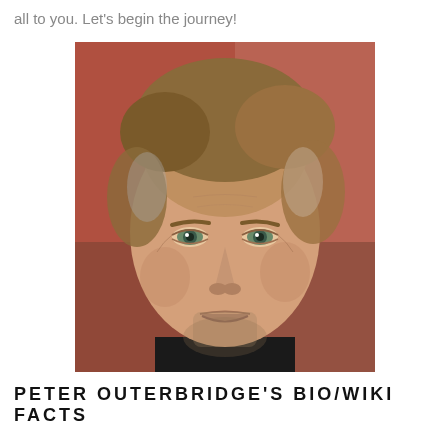all to you. Let's begin the journey!
[Figure (photo): Close-up portrait photo of Peter Outerbridge, a middle-aged man with light brown/graying hair, blue-green eyes, slight stubble beard, wearing a black shirt, against a blurred reddish-brown background.]
PETER OUTERBRIDGE'S BIO/WIKI FACTS